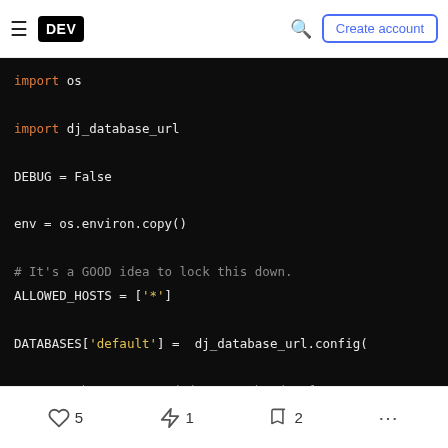≡ DEV  🔍  Create account
[Figure (screenshot): Dark-themed code editor screenshot showing Python/Django settings code with syntax highlighting. Lines shown: 'import os', 'import dj_database_url', 'DEBUG = False', 'env = os.environ.copy()', "# It's a GOOD idea to lock this down.", "ALLOWED_HOSTS = ['*']", "DATABASES['default'] =  dj_database_url.config(", "# Honor the 'X-Forwarded-Proto' header for requ...", "SECURE_PROXY_SSL_HEADER = ('HTTP_X_FORWARDED_PR...". Keywords 'import', '=', 'GOOD', string literals in yellow-orange.]
♡ 5   🔥 1   🔖 2   ...